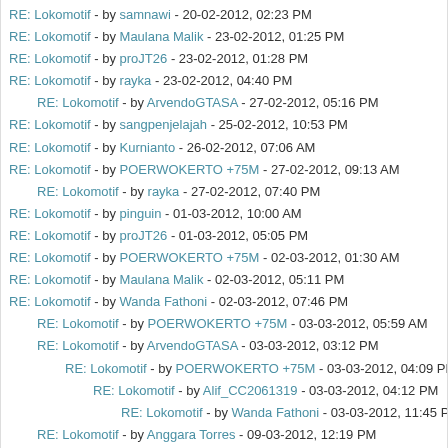RE: Lokomotif - by samnawi - 20-02-2012, 02:23 PM
RE: Lokomotif - by Maulana Malik - 23-02-2012, 01:25 PM
RE: Lokomotif - by proJT26 - 23-02-2012, 01:28 PM
RE: Lokomotif - by rayka - 23-02-2012, 04:40 PM
RE: Lokomotif - by ArvendoGTASA - 27-02-2012, 05:16 PM
RE: Lokomotif - by sangpenjelajah - 25-02-2012, 10:53 PM
RE: Lokomotif - by Kurnianto - 26-02-2012, 07:06 AM
RE: Lokomotif - by POERWOKERTO +75M - 27-02-2012, 09:13 AM
RE: Lokomotif - by rayka - 27-02-2012, 07:40 PM
RE: Lokomotif - by pinguin - 01-03-2012, 10:00 AM
RE: Lokomotif - by proJT26 - 01-03-2012, 05:05 PM
RE: Lokomotif - by POERWOKERTO +75M - 02-03-2012, 01:30 AM
RE: Lokomotif - by Maulana Malik - 02-03-2012, 05:11 PM
RE: Lokomotif - by Wanda Fathoni - 02-03-2012, 07:46 PM
RE: Lokomotif - by POERWOKERTO +75M - 03-03-2012, 05:59 AM
RE: Lokomotif - by ArvendoGTASA - 03-03-2012, 03:12 PM
RE: Lokomotif - by POERWOKERTO +75M - 03-03-2012, 04:09 PM
RE: Lokomotif - by Alif_CC2061319 - 03-03-2012, 04:12 PM
RE: Lokomotif - by Wanda Fathoni - 03-03-2012, 11:45 PM
RE: Lokomotif - by Anggara Torres - 09-03-2012, 12:19 PM
RE: Lokomotif - by Warteg - 20-03-2012, 03:35 PM
RE: Lokomotif - by kabei - 04-03-2012, 09:48 AM
RE: Lokomotif - by Alif_CC2061319 - 04-03-2012, 11:56 AM
RE: Lokomotif - by kabei - 05-03-2012, 07:30 AM
RE: Lokomotif - by Maulana Malik - 04-03-2012, 01:44 PM